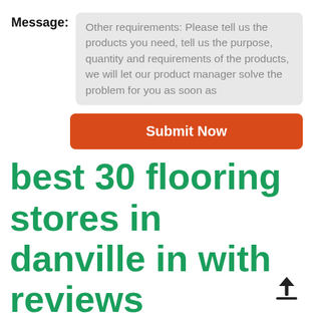Message:
Other requirements: Please tell us the products you need, tell us the purpose, quantity and requirements of the products, we will let our product manager solve the problem for you as soon as
Submit Now
best 30 flooring stores in danville in with reviews
[Figure (other): Upload/share icon — an upward arrow above a horizontal line]